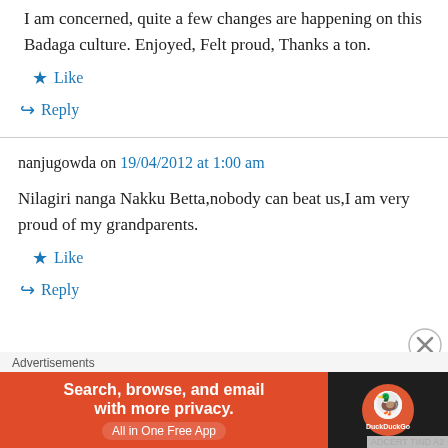I am concerned, quite a few changes are happening on this Badaga culture. Enjoyed, Felt proud, Thanks a ton.
Like
Reply
nanjugowda on 19/04/2012 at 1:00 am
Nilagiri nanga Nakku Betta,nobody can beat us,I am very proud of my grandparents.
Like
Reply
Advertisements
[Figure (other): DuckDuckGo advertisement banner: orange left side with text 'Search, browse, and email with more privacy. All in One Free App', dark right side with DuckDuckGo logo]